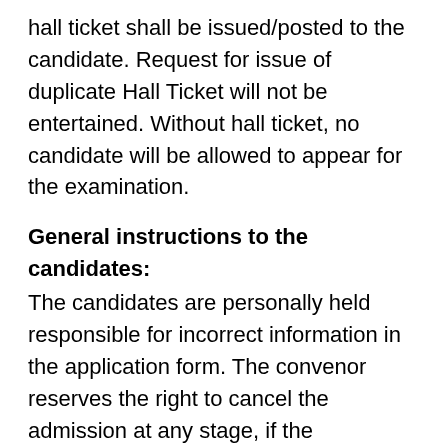hall ticket shall be issued/posted to the candidate. Request for issue of duplicate Hall Ticket will not be entertained. Without hall ticket, no candidate will be allowed to appear for the examination.
General instructions to the candidates:
The candidates are personally held responsible for incorrect information in the application form. The convenor reserves the right to cancel the admission at any stage, if the particulars furnished by the candidate are found incorrect or against the rules of admissions.